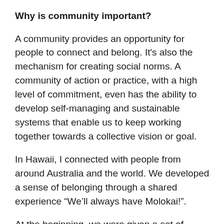Why is community important?
A community provides an opportunity for people to connect and belong. It's also the mechanism for creating social norms. A community of action or practice, with a high level of commitment, even has the ability to develop self-managing and sustainable systems that enable us to keep working together towards a collective vision or goal.
In Hawaii, I connected with people from around Australia and the world. We developed a sense of belonging through a shared experience “We’ll always have Molokai!”.
At the beginning, we were given a set of simple rules – e.g. be on time. Throughout our experience, however, a set of social norms also started to develop, sourced from our own personal culture and from the teachings we were